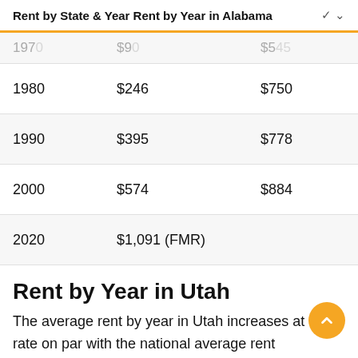Rent by State & Year Rent by Year in Alabama ∨
| 1970 | $90 | $545 |
| --- | --- | --- |
| 1980 | $246 | $750 |
| 1990 | $395 | $778 |
| 2000 | $574 | $884 |
| 2020 | $1,091 (FMR) |  |
Rent by Year in Utah
The average rent by year in Utah increases at a rate on par with the national average rent